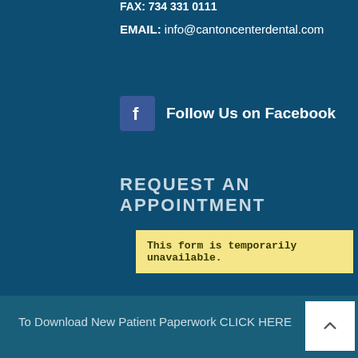FAX: 734 331 0111
EMAIL: info@cantoncenterdental.com
Follow Us on Facebook
REQUEST AN APPOINTMENT
This form is temporarily unavailable.
To Download New Patient Paperwork CLICK HERE